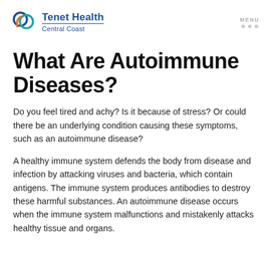Tenet Health Central Coast | MENU
What Are Autoimmune Diseases?
Do you feel tired and achy? Is it because of stress? Or could there be an underlying condition causing these symptoms, such as an autoimmune disease?
A healthy immune system defends the body from disease and infection by attacking viruses and bacteria, which contain antigens. The immune system produces antibodies to destroy these harmful substances. An autoimmune disease occurs when the immune system malfunctions and mistakenly attacks healthy tissue and organs.